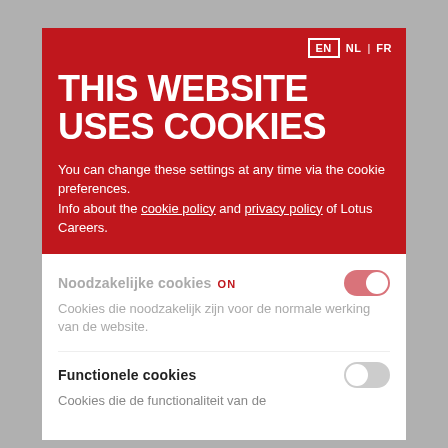EN  NL  |  FR
THIS WEBSITE USES COOKIES
You can change these settings at any time via the cookie preferences.
Info about the cookie policy and privacy policy of Lotus Careers.
Noodzakelijke cookies ON
Cookies die noodzakelijk zijn voor de normale werking van de website.
Functionele cookies
Cookies die de functionaliteit van de